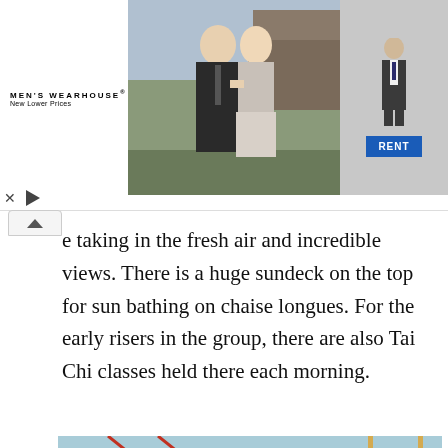[Figure (photo): Men's Wearhouse advertisement banner showing a couple at a wedding (man in dark suit, woman in formal dress) and a single man in a suit, with a blue 'RENT' button. Logo reads MEN'S WEARHOUSE New Lower Prices.]
e taking in the fresh air and incredible views. There is a huge sundeck on the top for sun bathing on chaise longues. For the early risers in the group, there are also Tai Chi classes held there each morning.
[Figure (photo): Photo of a woman in a swimsuit reclining on a chaise longue on a boat deck, being served a cocktail by a female staff member in white uniform. Karst mountains and water visible in background. 'Scroll to Top' button visible in bottom right corner.]